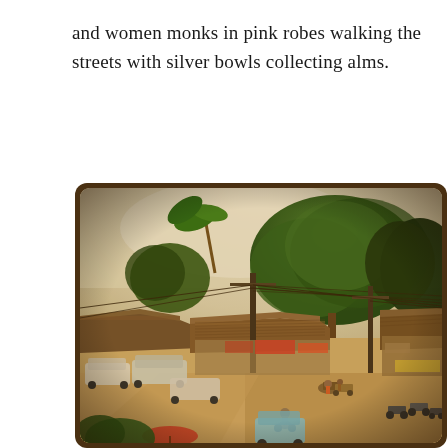and women monks in pink robes walking the streets with silver bowls collecting alms.
[Figure (photo): Aerial/elevated view of a Southeast Asian street scene showing shops with tin roofs, utility poles with many wires, trees, vehicles including cars and motorcycles, and people on a dusty road. The photo has a warm vintage tone with a dark brown rounded-corner border frame.]